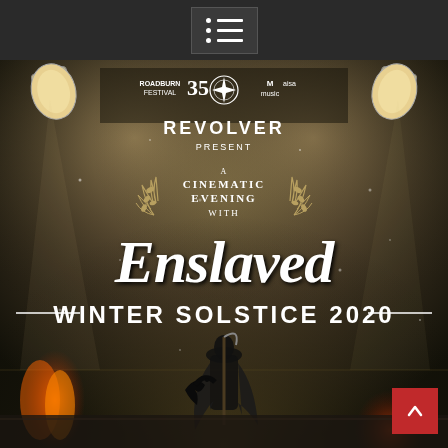Navigation menu
[Figure (illustration): Event poster for 'A Cinematic Evening with Enslaved – Winter Solstice 2020'. Dark atmospheric background with stage spotlights, a dark figure with fire and a raven in the foreground. Logos of Roadburn Festival, 35th anniversary emblem, a star compass emblem, and Aisa Music at the top. Text reads: REVOLVER PRESENT A CINEMATIC EVENING WITH Enslaved WINTER SOLSTICE 2020. Laurel wreath surrounds the 'A Cinematic Evening With' text.]